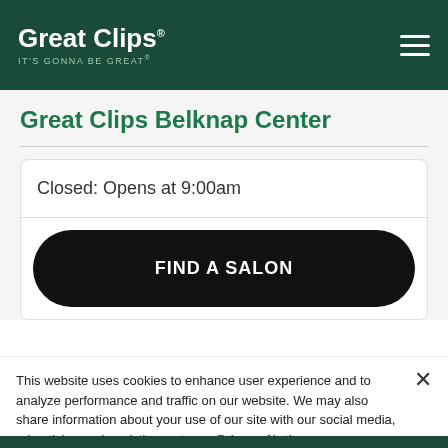Great Clips® IT'S GONNA BE GREAT®
Great Clips Belknap Center
Closed: Opens at 9:00am
FIND A SALON
This website uses cookies to enhance user experience and to analyze performance and traffic on our website. We may also share information about your use of our site with our social media, advertising and analytics partners. Privacy Notice
Do Not Sell My Personal Information